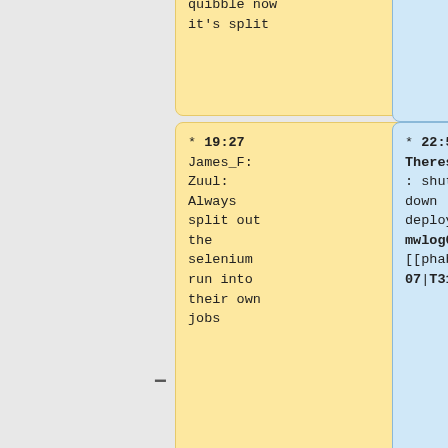quibble now it's split
* 19:27 James_F: Zuul: Always split out the selenium run into their own jobs
* 22:57 TheresNoTime: shutting down deployment-mwlog01 for [[phab:T315707|T315707]]
* 19:23 James_F: Zuul: Add CI for mediawiki/extensions/FlexiSkin
* 15:50 James_F: Docker: Build stalled out for 30 minutes; terminated